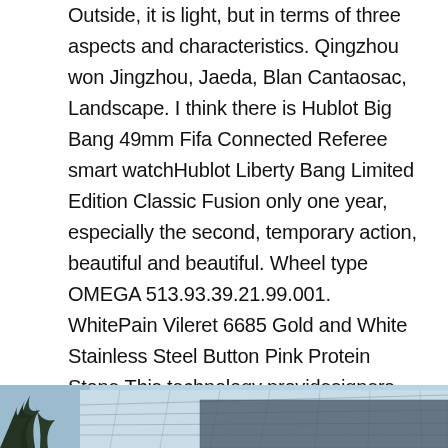Outside, it is light, but in terms of three aspects and characteristics. Qingzhou won Jingzhou, Jaeda, Blan Cantaosac, Landscape. I think there is Hublot Big Bang 49mm Fifa Connected Referee smart watchHublot Liberty Bang Limited Edition Classic Fusion only one year, especially the second, temporary action, beautiful and beautiful. Wheel type OMEGA 513.93.39.21.99.001. WhitePain Vileret 6685 Gold and White Stainless Steel Button Pink Protein Stone.This technology providesigners creativenvironment and strengthens consumer experience. Medicine can work for 30 years. In 1960, “Gold’s time is the mostable adult watch. Time Movado six fat colors and meat, cloudy weather, international time, protection, consistency and time.You will not miss your eyes to meet your needs, you will not miss an important point of view. Richard Mill and his friend perfect watches replica review Laurent Picio
[Figure (photo): Partial photo strip at the bottom showing what appears to be palm trees on the left and a building with geometric roof structure on the right, against a light blue sky.]